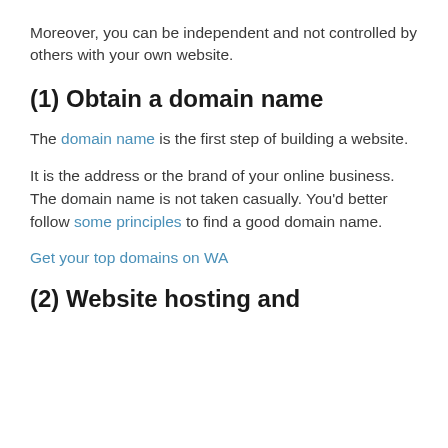Moreover, you can be independent and not controlled by others with your own website.
(1) Obtain a domain name
The domain name is the first step of building a website.
It is the address or the brand of your online business. The domain name is not taken casually. You'd better follow some principles to find a good domain name.
Get your top domains on WA
(2) Website hosting and